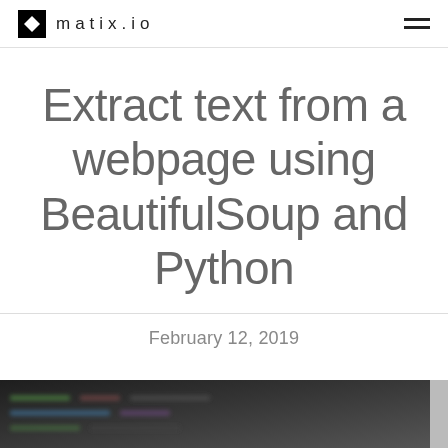matix.io
Extract text from a webpage using BeautifulSoup and Python
February 12, 2019
[Figure (screenshot): Dark-themed code editor or terminal screenshot, blurred, showing colored text on dark background]